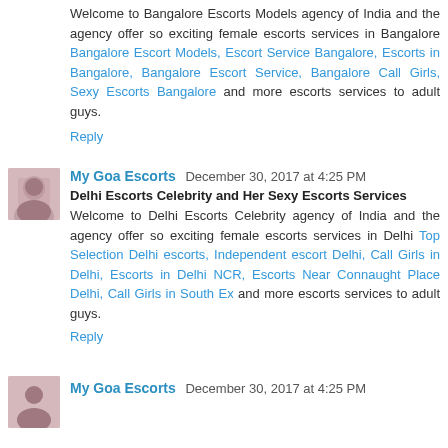Welcome to Bangalore Escorts Models agency of India and the agency offer so exciting female escorts services in Bangalore Bangalore Escort Models, Escort Service Bangalore, Escorts in Bangalore, Bangalore Escort Service, Bangalore Call Girls, Sexy Escorts Bangalore and more escorts services to adult guys.
Reply
My Goa Escorts December 30, 2017 at 4:25 PM
Delhi Escorts Celebrity and Her Sexy Escorts Services
Welcome to Delhi Escorts Celebrity agency of India and the agency offer so exciting female escorts services in Delhi Top Selection Delhi escorts, Independent escort Delhi, Call Girls in Delhi, Escorts in Delhi NCR, Escorts Near Connaught Place Delhi, Call Girls in South Ex and more escorts services to adult guys.
Reply
My Goa Escorts December 30, 2017 at 4:25 PM